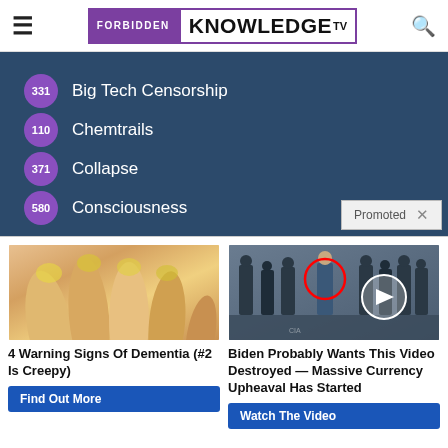FORBIDDEN KNOWLEDGE TV
331 Big Tech Censorship
110 Chemtrails
371 Collapse
580 Consciousness
Promoted
[Figure (photo): Close-up of yellowed fingernails on a hand]
4 Warning Signs Of Dementia (#2 Is Creepy)
Find Out More
[Figure (screenshot): Group of men in suits at CIA headquarters, one circled in red, with a video play button overlay]
Biden Probably Wants This Video Destroyed — Massive Currency Upheaval Has Started
Watch The Video